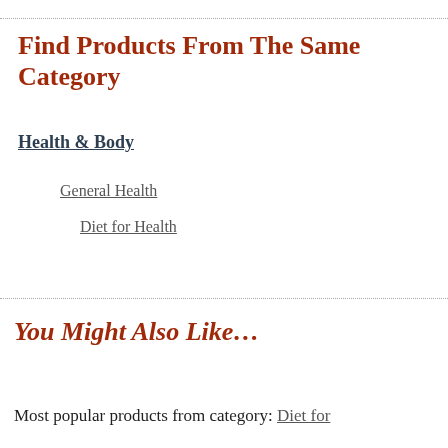Find Products From The Same Category
Health & Body
General Health
Diet for Health
You Might Also Like…
Most popular products from category: Diet for